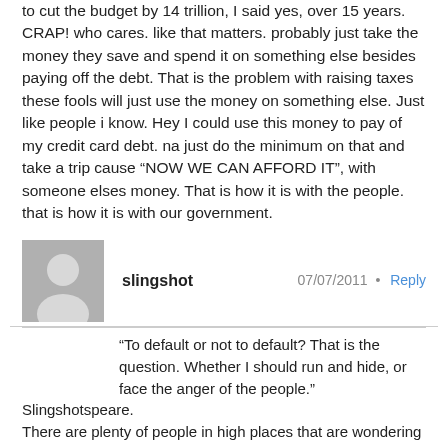to cut the budget by 14 trillion, I said yes, over 15 years. CRAP! who cares. like that matters. probably just take the money they save and spend it on something else besides paying off the debt. That is the problem with raising taxes these fools will just use the money on something else. Just like people i know. Hey I could use this money to pay of my credit card debt. na just do the minimum on that and take a trip cause “NOW WE CAN AFFORD IT”, with someone elses money. That is how it is with the people. that is how it is with our government.
slingshot  07/07/2011  Reply
“To default or not to default? That is the question. Whether I should run and hide, or face the anger of the people.”
Slingshotspeare.
There are plenty of people in high places that are wondering how long this is all going to stay together. I can tell you that this site is very tame in their comments. The general public is searching for answers and are willing to listen to those who where once chastised. The,"This is America" crowd is finding out